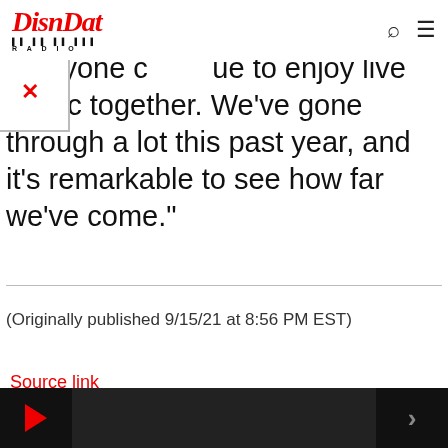DisnDat Radio
[Figure (other): Broken image placeholder box with red X]
everyone c    ue to enjoy live music together. We've gone through a lot this past year, and it's remarkable to see how far we've come."
(Originally published 9/15/21 at 8:56 PM EST)
Source link